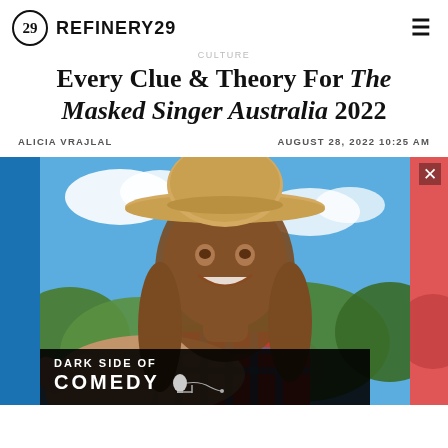REFINERY29
Every Clue & Theory For The Masked Singer Australia 2022
ALICIA VRAJLAL    AUGUST 28, 2022 10:25 AM
[Figure (photo): A smiling woman wearing a wide-brimmed straw cowboy hat and a plaid shirt, outdoors with green foliage and blue sky behind her, reaching toward camera. An advertisement overlay at the bottom reads 'DARK SIDE OF COMEDY' with a microphone icon.]